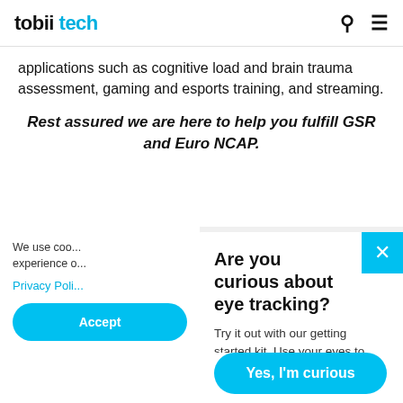tobii tech
applications such as cognitive load and brain trauma assessment, gaming and esports training, and streaming.
Rest assured we are here to help you fulfill GSR and Euro NCAP.
We use coo... experience o...
Privacy Poli...
Are you curious about eye tracking?
Try it out with our getting started kit. Use your eyes to select objects, zoom, and pinch — without writing a single line of code.
Yes, I'm curious